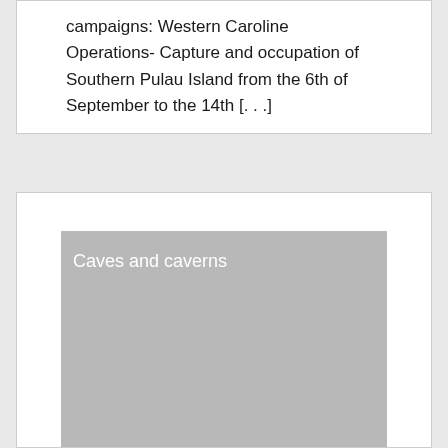campaigns: Western Caroline Operations- Capture and occupation of Southern Pulau Island from the 6th of September to the 14th [...]
[Figure (photo): Gray placeholder image with text 'Caves and caverns' in white at top left]